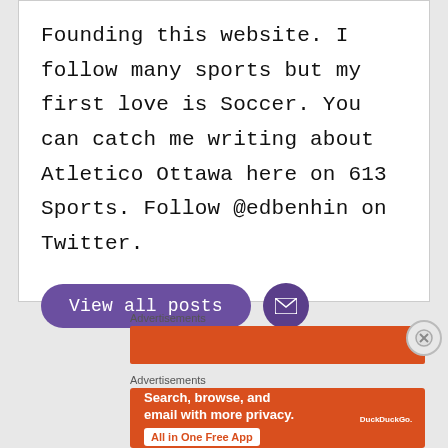Founding this website. I follow many sports but my first love is Soccer. You can catch me writing about Atletico Ottawa here on 613 Sports. Follow @edbenhin on Twitter.
View all posts
Advertisements
[Figure (other): Orange/red advertisement bar placeholder]
Advertisements
[Figure (other): DuckDuckGo advertisement banner with text 'Search, browse, and email with more privacy. All in One Free App' and DuckDuckGo logo on right side]